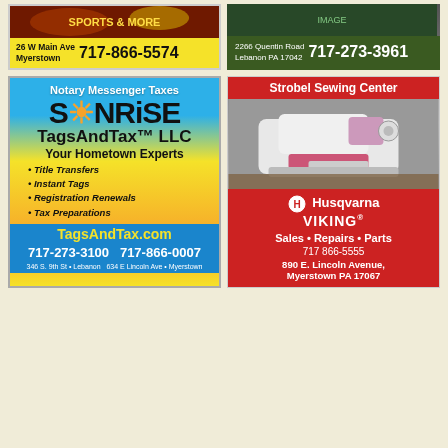[Figure (advertisement): Yellow ad with sports image, address 26 W Main Ave Myerstown, phone 717-866-5574]
[Figure (advertisement): Dark green ad with image, address 2266 Quentin Road Lebanon PA 17042, phone 717-273-3961]
[Figure (advertisement): Sonrise TagsAndTax LLC ad. Notary Messenger Taxes. Your Hometown Experts. Title Transfers, Instant Tags, Registration Renewals, Tax Preparations. TagsAndTax.com. 717-273-3100 717-866-0007. 346 S. 9th St Lebanon, 634 E Lincoln Ave Myerstown]
[Figure (advertisement): Strobel Sewing Center ad. Husqvarna VIKING. Sales Repairs Parts. 717 866-5555. 890 E. Lincoln Avenue, Myerstown PA 17067]